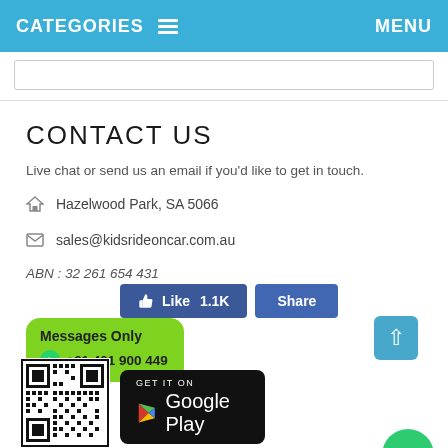CATEGORIES ≡   MENU
CONTACT US
Live chat or send us an email if you'd like to get in touch.
Hazelwood Park, SA 5066
sales@kidsrideoncar.com.au
ABN : 32 261 654 431
[Figure (screenshot): Facebook Like (1.1K) and Share buttons]
[Figure (infographic): WhatsApp Messages Only bubble with number +61 401 900 449]
[Figure (other): Scroll to top button (light blue, up arrow)]
[Figure (other): Green circular chat button]
[Figure (other): QR code image]
[Figure (other): Get it on Google Play badge]